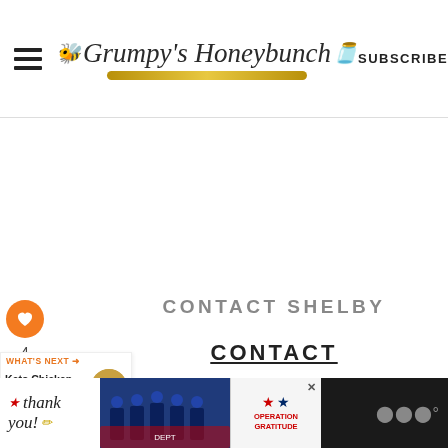Grumpy's Honeybunch — SUBSCRIBE
[Figure (screenshot): White empty content area with social sharing sidebar (heart button with count 4, share icon)]
CONTACT SHELBY
CONTACT
WORK WITH ME
[Figure (infographic): What's Next: Keto Chicken Nuggets wit... with thumbnail image]
[Figure (infographic): Bottom advertisement banner: Thank you text with flag star, firefighters image, Operation Gratitude logo]